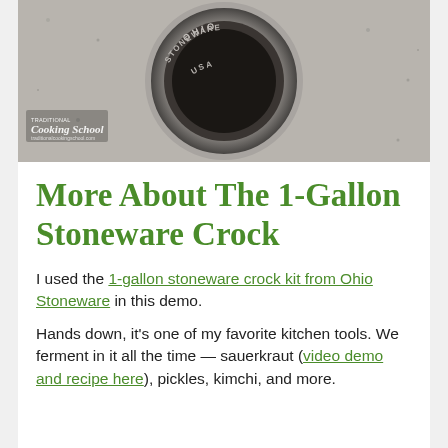[Figure (photo): Close-up photo of the bottom of a 1-gallon Ohio Stoneware crock with embossed text reading 'OHIO STONEWARE USA', with a Traditional Cooking School watermark in the lower left corner.]
More About The 1-Gallon Stoneware Crock
I used the 1-gallon stoneware crock kit from Ohio Stoneware in this demo.
Hands down, it's one of my favorite kitchen tools. We ferment in it all the time — sauerkraut (video demo and recipe here), pickles, kimchi, and more.